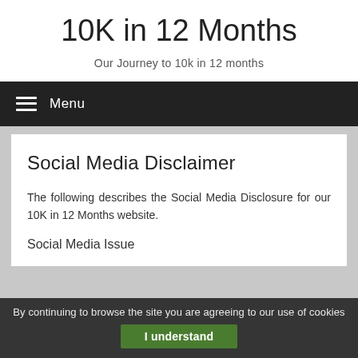10K in 12 Months
Our Journey to 10k in 12 months
≡  Menu
Social Media Disclaimer
The following describes the Social Media Disclosure for our 10K in 12 Months website.
Social Media Issue
By continuing to browse the site you are agreeing to our use of cookies
I understand